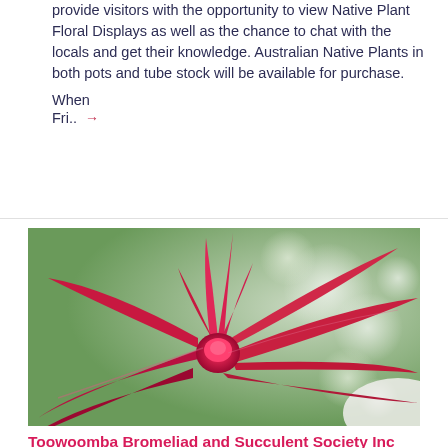provide visitors with the opportunity to view Native Plant Floral Displays as well as the chance to chat with the locals and get their knowledge.  Australian Native Plants in both pots and tube stock will be available for purchase.
When
Fri.. →
[Figure (photo): Close-up photograph of a red bromeliad plant with elongated red and green leaves spreading outward, set against a blurred green bokeh background.]
Toowoomba Bromeliad and Succulent Society Inc Annual Show and Sale
The annual show of bromeliad species...